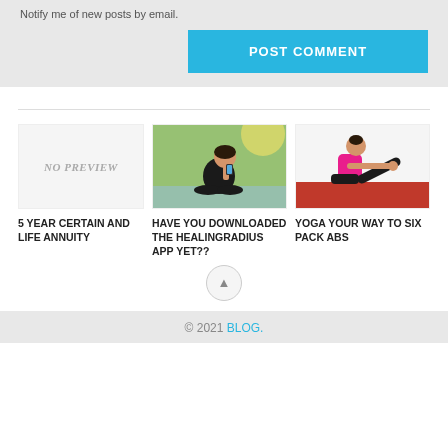Notify me of new posts by email.
POST COMMENT
[Figure (other): No preview placeholder image for blog post card]
5 YEAR CERTAIN AND LIFE ANNUITY
[Figure (photo): Woman sitting cross-legged outdoors using smartphone, meditating or using health app]
HAVE YOU DOWNLOADED THE HEALINGRADIUS APP YET??
[Figure (photo): Woman in pink top doing yoga boat pose on red mat]
YOGA YOUR WAY TO SIX PACK ABS
© 2021 BLOG.